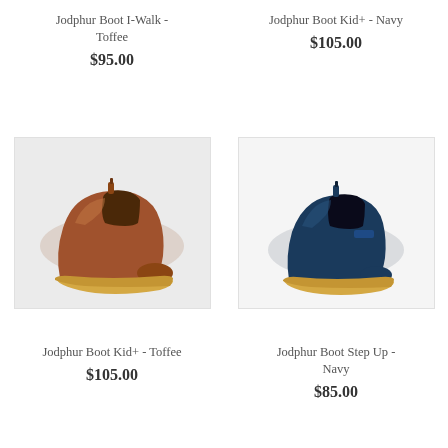Jodphur Boot I-Walk - Toffee
$95.00
Jodphur Boot Kid+ - Navy
$105.00
[Figure (photo): Toffee brown leather chelsea boot (Kid+) with elastic side panel and tan rubber sole, facing right]
[Figure (photo): Navy blue leather chelsea boot (Step Up) with elastic side panel and tan rubber sole, facing right]
Jodphur Boot Kid+ - Toffee
$105.00
Jodphur Boot Step Up - Navy
$85.00